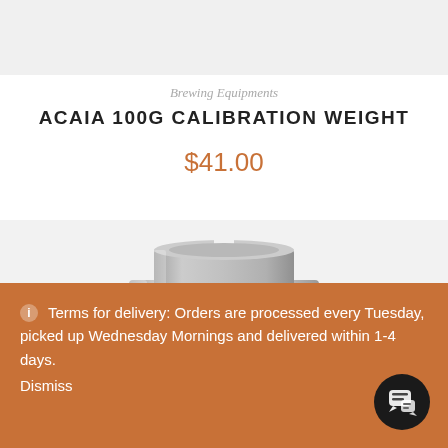[Figure (photo): Top portion of a product page showing a gray background strip at the top, likely the bottom portion of a product image area.]
Brewing Equipments
ACAIA 100G CALIBRATION WEIGHT
$41.00
[Figure (photo): A stainless steel cylindrical calibration weight (Acaia 100g) shown from above on a light gray background. The top of the weight is visible showing a brushed metal finish with a notch cutout at the top rim.]
Terms for delivery: Orders are processed every Tuesday, picked up Wednesday Mornings and delivered within 1-4 days.
Dismiss